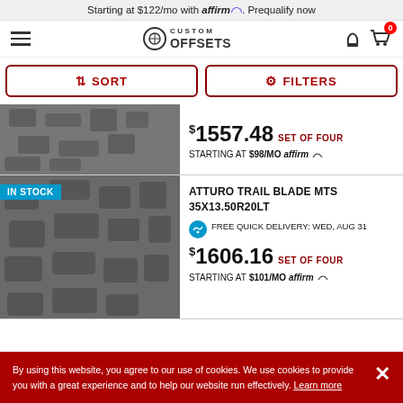Starting at $122/mo with affirm. Prequalify now
[Figure (screenshot): Custom Offsets navigation bar with hamburger menu, logo, phone icon, and cart icon with 0 badge]
↕ SORT
↕ FILTERS
$1557.48 SET OF FOUR
STARTING AT $98/MO affirm
ATTURO TRAIL BLADE MTS 35X13.50R20LT
FREE QUICK DELIVERY: WED, AUG 31
$1606.16 SET OF FOUR
STARTING AT $101/MO affirm
By using this website, you agree to our use of cookies. We use cookies to provide you with a great experience and to help our website run effectively. Learn more